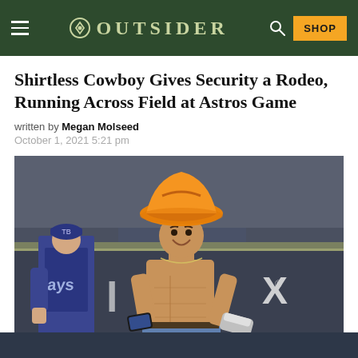OUTSIDER — SHOP
Shirtless Cowboy Gives Security a Rodeo, Running Across Field at Astros Game
written by Megan Molseed
October 1, 2021 5:21 pm
[Figure (photo): Shirtless young man wearing a large orange cowboy hat running across a baseball field at an Astros game, holding a phone and shoes; a Tampa Bay Rays player visible in the background]